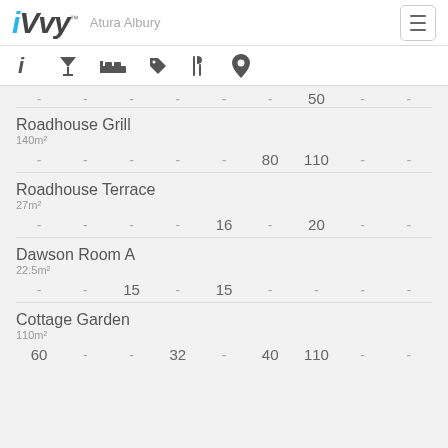iVvy — Atura Albury
[Figure (infographic): Icon navigation bar with info, cocktail/filter, bed, tag, cutlery, and map pin icons]
- - - - - - 50 - -
Roadhouse Grill
140m²
- - - - - 80 110 - -
Roadhouse Terrace
27m²
- - - - 16 - 20 - -
Dawson Room A
22.5m²
- - 15 - 15 - - - -
Cottage Garden
110m²
60 - - 32 - 40 110 - -